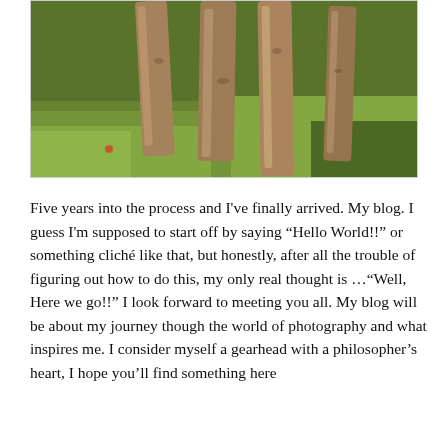[Figure (photo): Outdoor photograph showing several tall wooden posts or stumps standing upright in a grassy green field, bathed in warm golden sunlight.]
Five years into the process and I've finally arrived.  My blog.  I guess I'm supposed to start off by saying “Hello World!!” or something cliché like that, but honestly, after all the trouble of figuring out how to do this, my only real thought is …“Well, Here we go!!” I look forward to meeting you all.  My blog will be about my journey though the world of photography and what inspires me. I consider myself a gearhead with a philosopher’s heart, I hope you’ll find something here